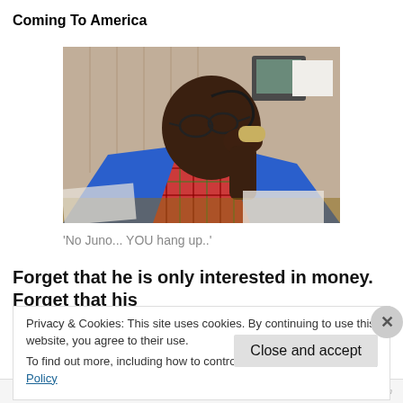Coming To America
[Figure (photo): A man in a blue suit and plaid shirt/vest talking on a telephone, seated at a desk in an office setting]
'No Juno... YOU hang up..'
Forget that he is only interested in money. Forget that his
Privacy & Cookies: This site uses cookies. By continuing to use this website, you agree to their use.
To find out more, including how to control cookies, see here: Cookie Policy